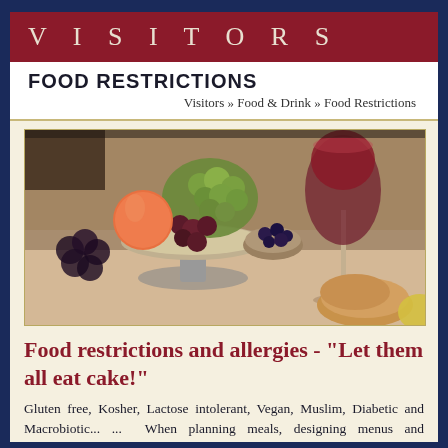VISITORS
FOOD RESTRICTIONS
Visitors » Food & Drink » Food Restrictions
[Figure (photo): A table setting with a bowl of mixed fruit (grapes, peach, blueberries), a glass of red wine, and bread]
Food restrictions and allergies - "LET THEM ALL EAT CAKE!"
Gluten free, Kosher, Lactose intolerant, Vegan, Muslim, Diabetic and Macrobiotic... ...  When planning meals, designing menus and coordinating functions it is important to consider if the guests have any special...